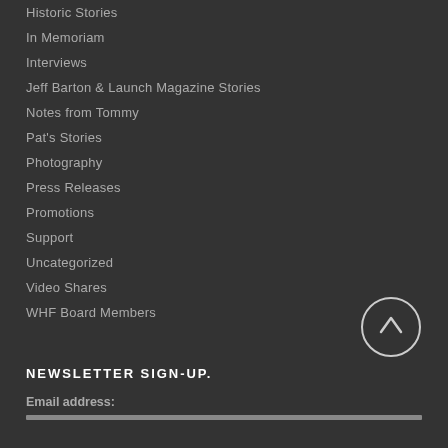Historic Stories
In Memoriam
Interviews
Jeff Barton & Launch Magazine Stories
Notes from Tommy
Pat's Stories
Photography
Press Releases
Promotions
Support
Uncategorized
Video Shares
WHF Board Members
[Figure (illustration): Circular up-arrow button with white arrow inside circle outline]
NEWSLETTER SIGN-UP.
Email address: